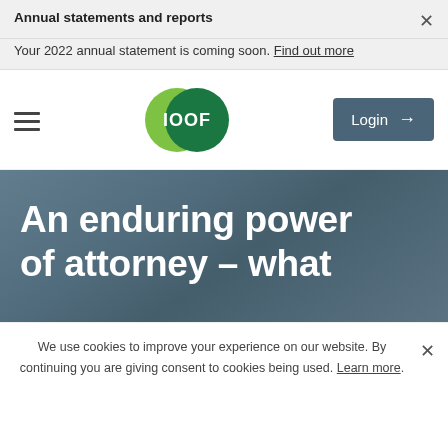Annual statements and reports
Your 2022 annual statement is coming soon. Find out more
[Figure (logo): IOOF logo — two overlapping circles in green shades with 'IOOF' text in white]
Login →
An enduring power of attorney – what
We use cookies to improve your experience on our website. By continuing you are giving consent to cookies being used. Learn more.